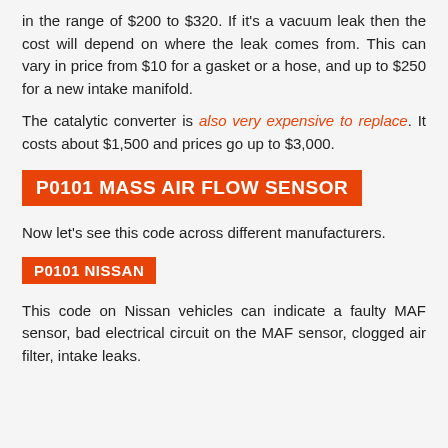in the range of $200 to $320. If it's a vacuum leak then the cost will depend on where the leak comes from. This can vary in price from $10 for a gasket or a hose, and up to $250 for a new intake manifold.
The catalytic converter is also very expensive to replace. It costs about $1,500 and prices go up to $3,000.
P0101 MASS AIR FLOW SENSOR
Now let's see this code across different manufacturers.
P0101 NISSAN
This code on Nissan vehicles can indicate a faulty MAF sensor, bad electrical circuit on the MAF sensor, clogged air filter, intake leaks.